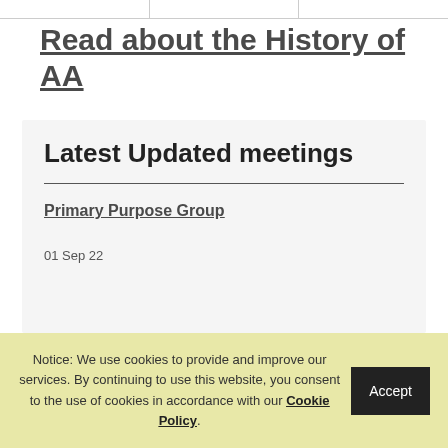Read about the History of AA
Latest Updated meetings
Primary Purpose Group
01 Sep 22
Notice: We use cookies to provide and improve our services. By continuing to use this website, you consent to the use of cookies in accordance with our Cookie Policy. Accept